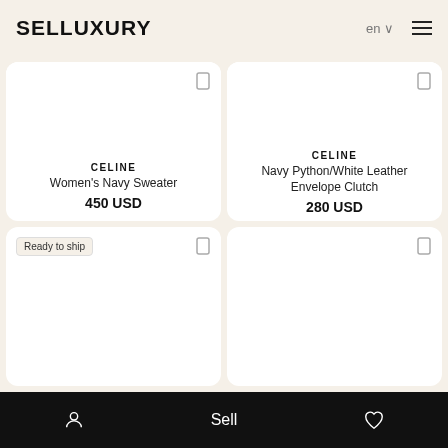SELLUXURY
[Figure (other): Product card: CELINE Women's Navy Sweater, 450 USD]
[Figure (other): Product card: CELINE Navy Python/White Leather Envelope Clutch, 280 USD]
[Figure (other): Product card with Ready to ship badge, no content visible]
[Figure (other): Product card, no content visible]
Sell